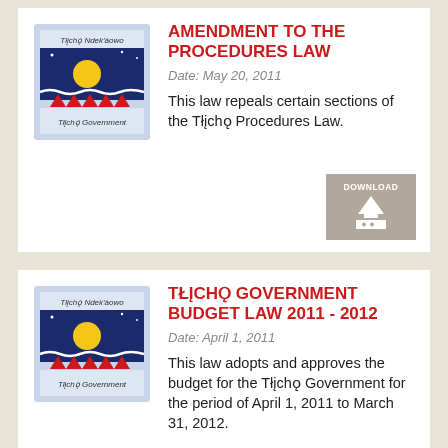[Figure (logo): Tłįchǫ Government logo with dark blue background, yellow sun, red triangles, and text 'Tłįchǫ Ndek'àowo' and 'Tłįchǫ Government']
AMENDMENT TO THE PROCEDURES LAW
Date: May 20, 2011
This law repeals certain sections of the Tłįchǫ Procedures Law.
[Figure (logo): Tłįchǫ Government logo with dark blue background, yellow sun, red triangles, and text 'Tłįchǫ Ndek'àowo' and 'Tłįchǫ Government']
TŁĮCHǪ GOVERNMENT BUDGET LAW 2011 - 2012
Date: April 1, 2011
This law adopts and approves the budget for the Tłįchǫ Government for the period of April 1, 2011 to March 31, 2012.